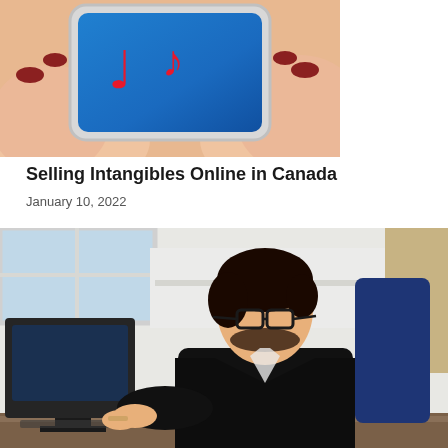[Figure (photo): Hands holding a smartphone with a blue screen showing red musical notes]
Selling Intangibles Online in Canada
January 10, 2022
[Figure (photo): Woman with dark hair and glasses in a black blazer working at a computer desk in an office setting]